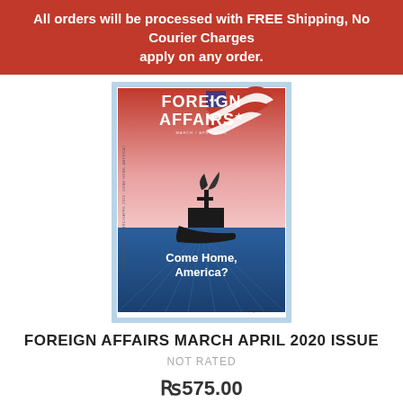All orders will be processed with FREE Shipping, No Courier Charges apply on any order.
[Figure (illustration): Magazine cover of Foreign Affairs March/April 2020 issue. Title 'FOREIGN AFFAIRS' in large white letters at top. Cover shows a dark silhouette of a sinking ship with an American flag tearing away and waving in the wind against a red-to-blue gradient sky and ocean background. White text at bottom reads 'Come Home, America?']
FOREIGN AFFAIRS MARCH APRIL 2020 ISSUE
NOT RATED
Rs575.00
ADD TO CA
Need Help?